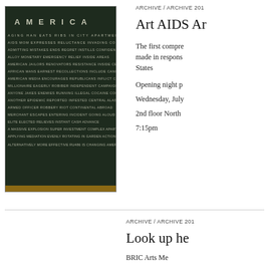[Figure (photo): A chalkboard covered with chalk-written words related to America, with the word AMERICA at the top and many words arranged in a dense grid pattern below it.]
ARCHIVE / ARCHIVE 201
Art AIDS Ar
The first compre made in respons States
Opening night p
Wednesday, July
2nd floor North
7:15pm
ARCHIVE / ARCHIVE 201
Look up he
BRIC Arts Me